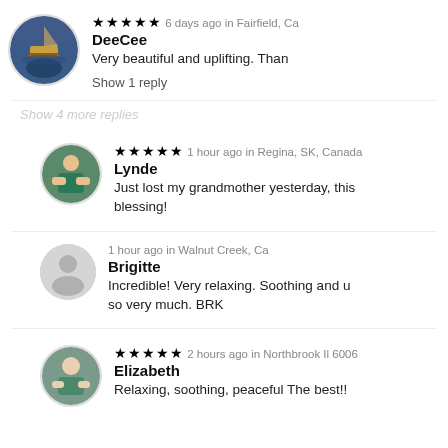[Figure (photo): Circular avatar photo showing a sailboat on water at dusk]
★★★★★ 6 days ago in Fairfield, Ca
DeeCee
Very beautiful and uplifting. Than
Show 1 reply
[Figure (photo): Circular avatar photo of a person outdoors]
★★★★★ 1 hour ago in Regina, SK, Canada
Lynde
Just lost my grandmother yesterday, this blessing!
[Figure (illustration): Circular gray placeholder avatar icon]
1 hour ago in Walnut Creek, Ca
Brigitte
Incredible! Very relaxing. Soothing and u so very much. BRK
[Figure (photo): Circular avatar photo of a person]
★★★★★ 2 hours ago in Northbrook Il 6006
Elizabeth
Relaxing, soothing, peaceful The best!!